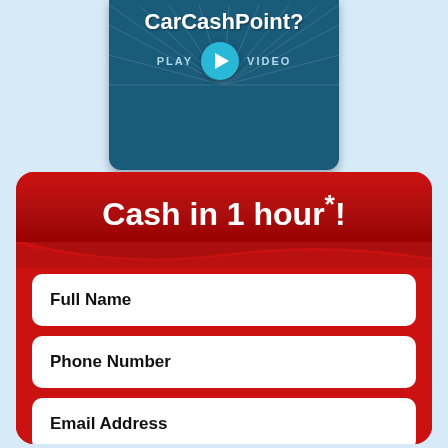[Figure (screenshot): CarCashPoint video banner with play button, dark teal background with sunburst rays, text 'CarCashPoint?' and 'PLAY VIDEO' with a cyan play button]
Cash in 1 hour*!
Full Name
Phone Number
Email Address
Loan Amount Needed